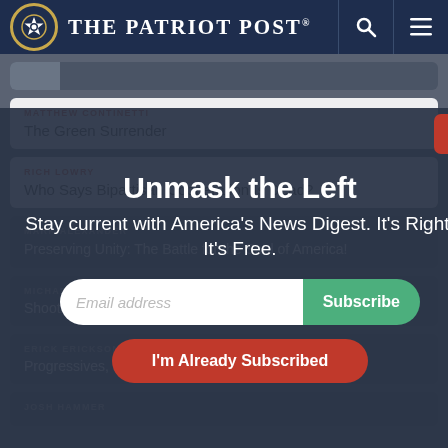The Patriot Post
MATTHEW CONTINETTI — The Green Surrender
RICH LOWRY — Who Says Bipartisan Cooperation Is Dead?
MARK ALEXANDER — Preserving Unity: The Battle for the Soul of America!
MICHAEL REAGAN — Shooting Back at President Biden
ERICK ERICKSON — Progressives, Not the Pandemic, Hurt Kids' Education
JOSH HAMMER
Unmask the Left
Stay current with America's News Digest. It's Right. It's Free.
Email address  Subscribe
I'm Already Subscribed